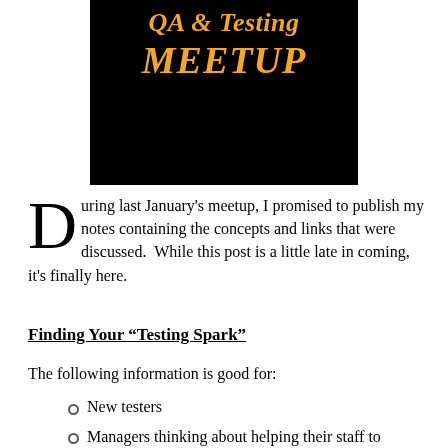[Figure (illustration): Black banner image showing 'QA & Testing MEETUP' text in bold orange italic letters on black background]
During last January's meetup, I promised to publish my notes containing the concepts and links that were discussed.  While this post is a little late in coming, it's finally here.
Finding Your “Testing Spark”
The following information is good for:
New testers
Managers thinking about helping their staff to improve